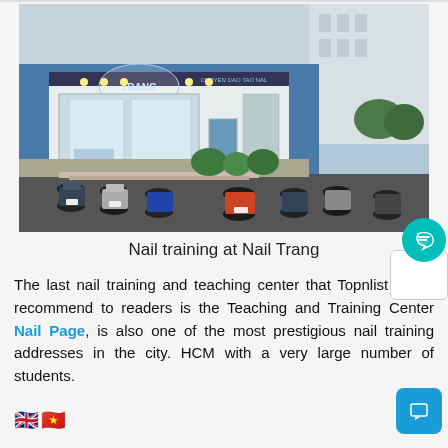[Figure (photo): Exterior photograph of Nail Trang nail training salon/storefront with motorcycles parked in front, blue building facade, illuminated signage reading 'TRANG' and 'CHUYEN DAO TAO NAIL']
Nail training at Nail Trang
The last nail training and teaching center that Topnlist would recommend to readers is the Teaching and Training Center Nail Page, is also one of the most prestigious nail training addresses in the city. HCM with a very large number of students.
🇬🇧🇻🇳